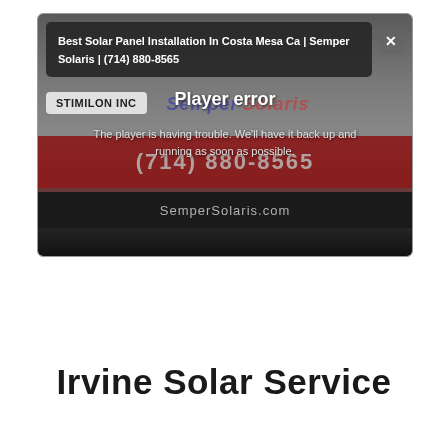[Figure (screenshot): A video player screenshot showing a 'Player error' message overlay on a Semper Solaris advertisement. The browser tooltip shows 'Best Solar Panel Installation In Costa Mesa Ca | Semper Solaris | (714) 880-8565'. A 'STIMILON INC' button is visible top-left. The error reads 'Player error' and 'The player is having trouble. We'll have it back up and running as soon as possible.' The underlying video shows the Semper Solaris logo, phone number (714) 880-8565, and SemperSolaris.com.]
Irvine Solar Service